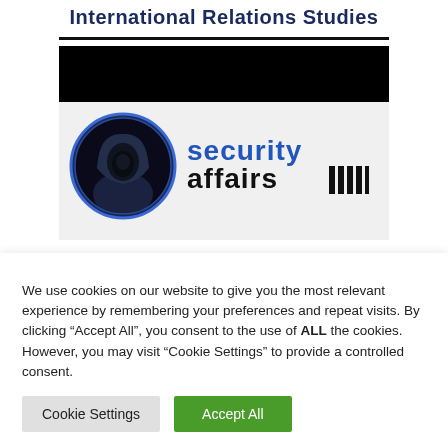International Relations Studies
[Figure (logo): Security Affairs logo: a hooded figure in a blue-rimmed circle next to stylized 'security affairs' text with vertical bar elements, on a light gray background with a black banner above]
We use cookies on our website to give you the most relevant experience by remembering your preferences and repeat visits. By clicking “Accept All”, you consent to the use of ALL the cookies. However, you may visit "Cookie Settings" to provide a controlled consent.
Cookie Settings
Accept All